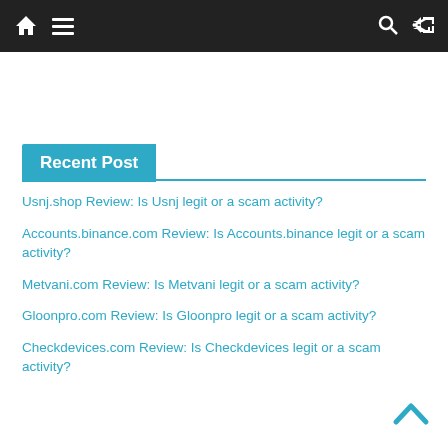Navigation bar with home, menu, search, and shuffle icons
Recent Post
Usnj.shop Review: Is Usnj legit or a scam activity?
Accounts.binance.com Review: Is Accounts.binance legit or a scam activity?
Metvani.com Review: Is Metvani legit or a scam activity?
Gloonpro.com Review: Is Gloonpro legit or a scam activity?
Checkdevices.com Review: Is Checkdevices legit or a scam activity?